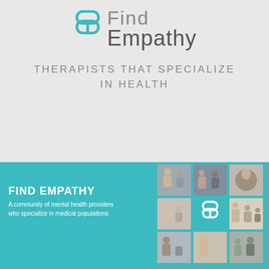[Figure (logo): Find Empathy logo: teal pill/double-circle icon on the left, text 'Find Empathy' on the right in gray]
THERAPISTS THAT SPECIALIZE IN HEALTH
[Figure (infographic): Teal banner with 'FIND EMPATHY' heading, subtitle 'A community of mental health providers who specialize in medical populations', and a 3x3 photo grid showing therapy session images and the Find Empathy logo icon]